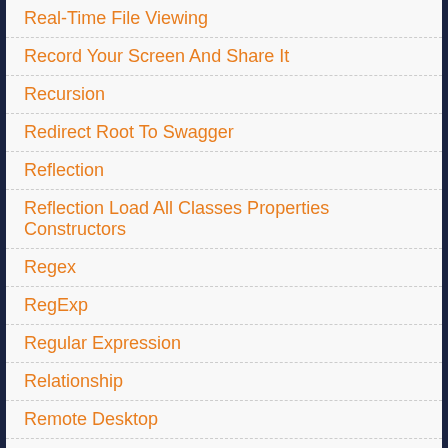Real-Time File Viewing
Record Your Screen And Share It
Recursion
Redirect Root To Swagger
Reflection
Reflection Load All Classes Properties Constructors
Regex
RegExp
Regular Expression
Relationship
Remote Desktop
Remove Windows User
Repos
Required
Research